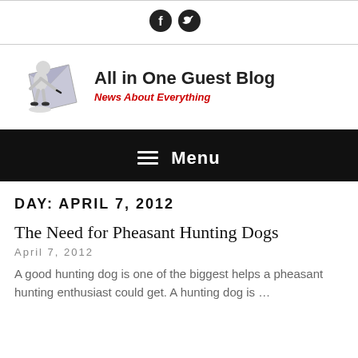[Figure (logo): Social media icons bar with Facebook and Twitter icons (black circles)]
[Figure (logo): All in One Guest Blog logo with a 3D figure writing on paper, text 'All in One Guest Blog' in bold black and 'News About Everything' in red italic]
≡ Menu
DAY: APRIL 7, 2012
The Need for Pheasant Hunting Dogs
April 7, 2012
A good hunting dog is one of the biggest helps a pheasant hunting enthusiast could get. A hunting dog is …